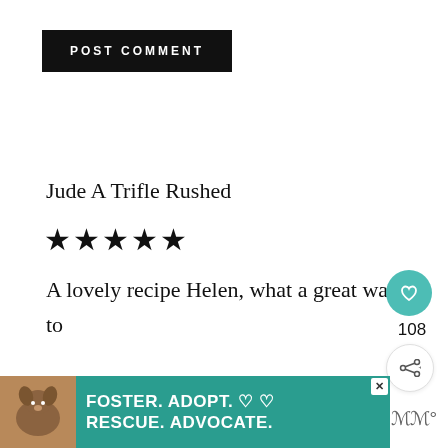[Figure (screenshot): Black button with white uppercase text reading POST COMMENT]
Jude A Trifle Rushed
★★★★★
A lovely recipe Helen, what a great way to start the day!
REPLY
[Figure (infographic): Teal circular like button with heart icon, count of 108, and share button below]
[Figure (infographic): Advertisement banner: FOSTER. ADOPT. RESCUE. ADVOCATE. with dog photo on teal background]